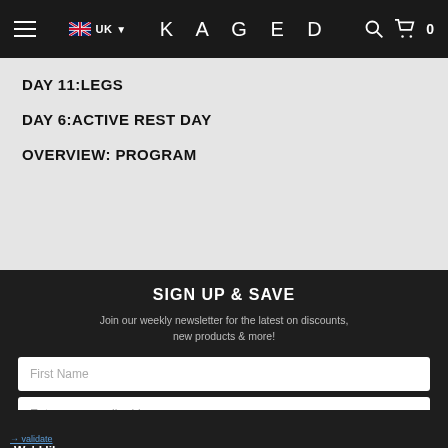UK | KAGED | 0
DAY 11:LEGS
DAY 6:ACTIVE REST DAY
OVERVIEW: PROGRAM
SIGN UP & SAVE
Join our weekly newsletter for the latest on discounts, new products & more!
First Name
Enter your email address...
We'd like